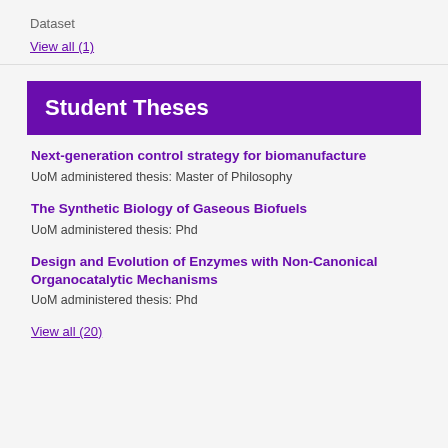Dataset
View all (1)
Student Theses
Next-generation control strategy for biomanufacture
UoM administered thesis: Master of Philosophy
The Synthetic Biology of Gaseous Biofuels
UoM administered thesis: Phd
Design and Evolution of Enzymes with Non-Canonical Organocatalytic Mechanisms
UoM administered thesis: Phd
View all (20)